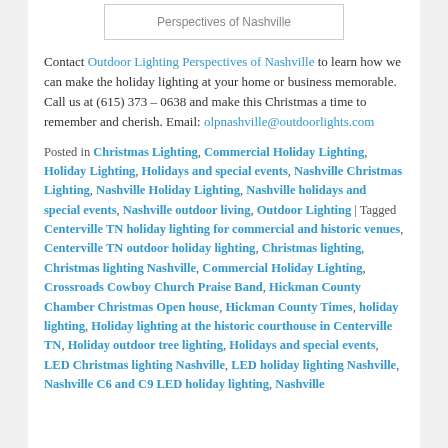[Figure (logo): Outdoor Lighting Perspectives of Nashville logo/text box]
Contact Outdoor Lighting Perspectives of Nashville to learn how we can make the holiday lighting at your home or business memorable. Call us at (615) 373 – 0638 and make this Christmas a time to remember and cherish. Email: olpnashville@outdoorlights.com
Posted in Christmas Lighting, Commercial Holiday Lighting, Holiday Lighting, Holidays and special events, Nashville Christmas Lighting, Nashville Holiday Lighting, Nashville holidays and special events, Nashville outdoor living, Outdoor Lighting | Tagged Centerville TN holiday lighting for commercial and historic venues, Centerville TN outdoor holiday lighting, Christmas lighting, Christmas lighting Nashville, Commercial Holiday Lighting, Crossroads Cowboy Church Praise Band, Hickman County Chamber Christmas Open house, Hickman County Times, holiday lighting, Holiday lighting at the historic courthouse in Centerville TN, Holiday outdoor tree lighting, Holidays and special events, LED Christmas lighting Nashville, LED holiday lighting Nashville, Nashville C6 and C9 LED holiday lighting, Nashville